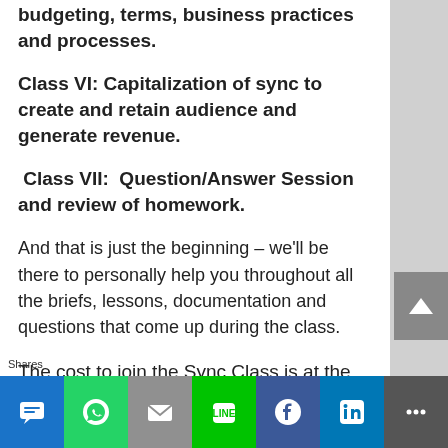budgeting, terms, business practices and processes.
Class VI: Capitalization of sync to create and retain audience and generate revenue.
Class VII:  Question/Answer Session and review of homework.
And that is just the beginning – we'll be there to personally help you throughout all the briefs, lessons, documentation and questions that come up during the class.
The cost to join the Sync Class is at the 1/2
Shares